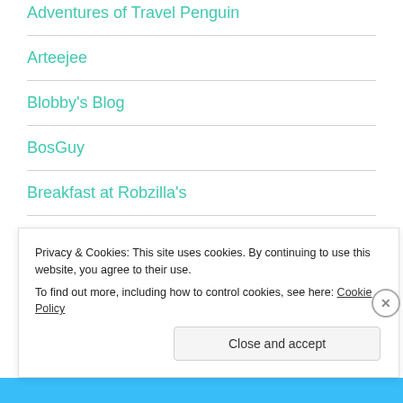Adventures of Travel Penguin
Arteejee
Blobby's Blog
BosGuy
Breakfast at Robzilla's
From My Brain to My Mouth
Privacy & Cookies: This site uses cookies. By continuing to use this website, you agree to their use.
To find out more, including how to control cookies, see here: Cookie Policy
Close and accept